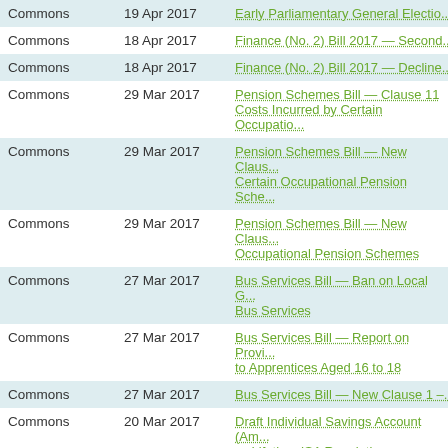| Chamber | Date | Title |
| --- | --- | --- |
| Commons | 19 Apr 2017 | Early Parliamentary General Electio... |
| Commons | 18 Apr 2017 | Finance (No. 2) Bill 2017 — Second... |
| Commons | 18 Apr 2017 | Finance (No. 2) Bill 2017 — Decline... |
| Commons | 29 Mar 2017 | Pension Schemes Bill — Clause 11 Costs Incurred by Certain Occupatio... |
| Commons | 29 Mar 2017 | Pension Schemes Bill — New Claus... Certain Occupational Pension Sche... |
| Commons | 29 Mar 2017 | Pension Schemes Bill — New Claus... Occupational Pension Schemes |
| Commons | 27 Mar 2017 | Bus Services Bill — Ban on Local G... Bus Services |
| Commons | 27 Mar 2017 | Bus Services Bill — Report on Provi... to Apprentices Aged 16 to 18 |
| Commons | 27 Mar 2017 | Bus Services Bill — New Clause 1 –... |
| Commons | 20 Mar 2017 | Draft Individual Savings Account (Am... — Lifetime ISA Regulations |
| Commons | 15 Mar 2017 | Draft Sovereign Grant Act 2011 (Cha... Increase in Payments to the Monarc... |
| Commons | 15 Mar 2017 | Draft Bereavement Support Paymen... Scheme for Bereavement Support P... |
| Commons |  | Health Service Medical Polici... |